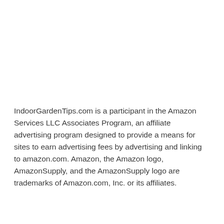IndoorGardenTips.com is a participant in the Amazon Services LLC Associates Program, an affiliate advertising program designed to provide a means for sites to earn advertising fees by advertising and linking to amazon.com. Amazon, the Amazon logo, AmazonSupply, and the AmazonSupply logo are trademarks of Amazon.com, Inc. or its affiliates.